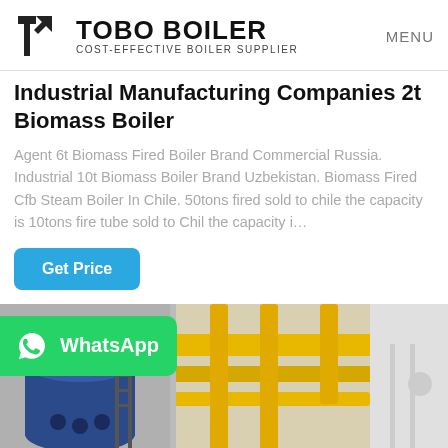TOBO BOILER COST-EFFECTIVE BOILER SUPPLIER MENU
Industrial Manufacturing Companies 2t Biomass Boiler
Agent 6t Biomass Fired Boiler Brand Commercial Russia. Industrial 10t Biomass Boiler Brand Uzbekistan. Biomass Fired Cfb Steam Boiler In Chile. 50tons fired sold to chile the capacity is 10tons fire tube sold to Chil the capacity i…
[Figure (screenshot): Blue 'Get Price' button]
[Figure (photo): Industrial boiler equipment with yellow pipes and blue cylindrical boiler unit, with a WhatsApp banner overlay showing the WhatsApp logo and 'WhatsApp' text in white on green background]